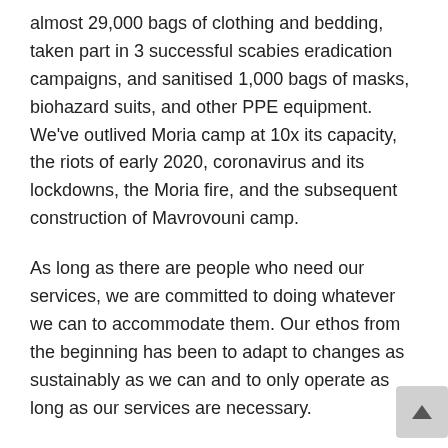almost 29,000 bags of clothing and bedding, taken part in 3 successful scabies eradication campaigns, and sanitised 1,000 bags of masks, biohazard suits, and other PPE equipment. We've outlived Moria camp at 10x its capacity, the riots of early 2020, coronavirus and its lockdowns, the Moria fire, and the subsequent construction of Mavrovouni camp.
As long as there are people who need our services, we are committed to doing whatever we can to accommodate them. Our ethos from the beginning has been to adapt to changes as sustainably as we can and to only operate as long as our services are necessary.
With the significant decrease in Mavrovouni residents (less than 2,000 people currently), the establishment of